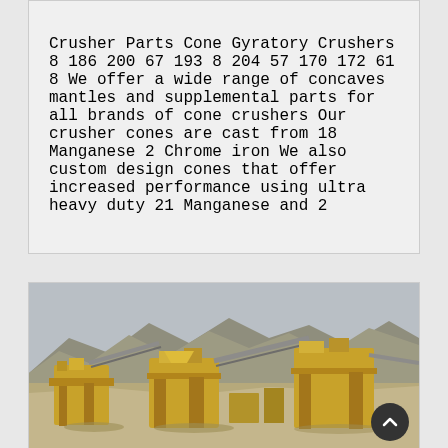Crusher Parts Cone Gyratory Crushers 8 186 200 67 193 8 204 57 170 172 61 8 We offer a wide range of concaves mantles and supplemental parts for all brands of cone crushers Our crusher cones are cast from 18 Manganese 2 Chrome iron We also custom design cones that offer increased performance using ultra heavy duty 21 Manganese and 2
[Figure (photo): Outdoor industrial quarry/mining site with yellow heavy crushing machinery and conveyor equipment in the foreground, arid mountainous landscape in the background under an overcast sky.]